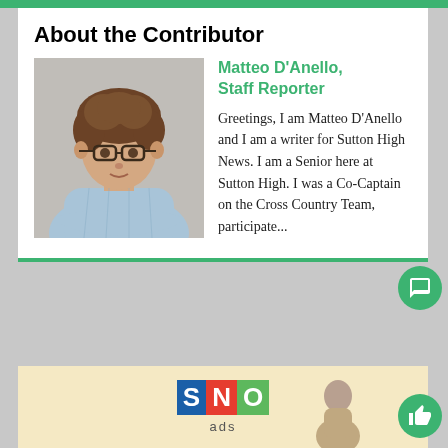About the Contributor
[Figure (photo): Headshot photo of Matteo D'Anello, a young man with curly brown hair and glasses, wearing a light blue plaid shirt, seated with arms crossed, against a neutral background.]
Matteo D'Anello, Staff Reporter
Greetings, I am Matteo D'Anello and I am a writer for Sutton High News. I am a Senior here at Sutton High. I was a Co-Captain on the Cross Country Team, participate...
[Figure (logo): SNO ads logo on a pale yellow background. SNO letters appear in colored blocks: S in blue, N in red, O in green.]